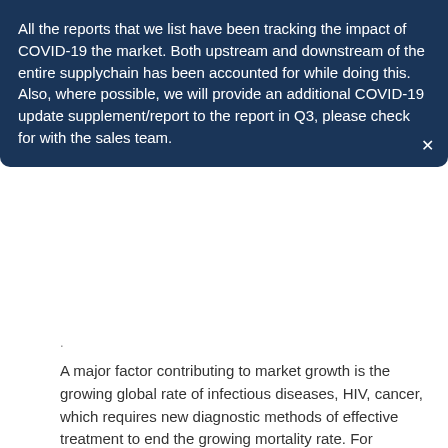All the reports that we list have been tracking the impact of COVID-19 the market. Both upstream and downstream of the entire supplychain has been accounted for while doing this. Also, where possible, we will provide an additional COVID-19 update supplement/report to the report in Q3, please check for with the sales team.
A major factor contributing to market growth is the growing global rate of infectious diseases, HIV, cancer, which requires new diagnostic methods of effective treatment to end the growing mortality rate. For example, according to the Joint United Nations Program on HIV and AIDS (UNAIDS), in 2019, 24.5 million people living with HIV are receiving antiretroviral treatment worldwide.
The technical advancements in the field of lateral flow assays (LFA) have also boosted the market growth. In recent years, major advances in LFA development have included novel signal enhancement techniques, the use of new labels, improved quantification systems and